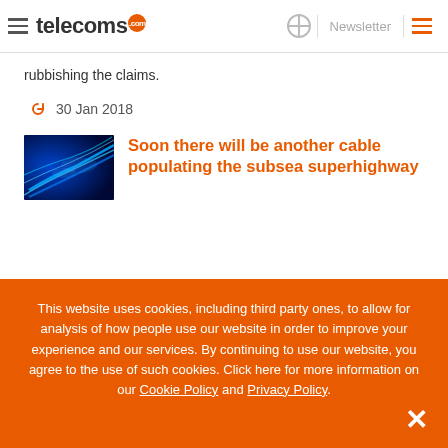telecoms.com | Newsletter
rubbishing the claims.
30 Jan 2018
[Figure (photo): Blue fiber optic cables with light streaks on dark background]
Soon there will be another cable populating the subsea superhighway
This website uses cookies, including third party ones, to allow for analysis of how people use our website in order to improve your experience and our services. By continuing to use our website, you agree to the use of such cookies. Click here for more information on our Cookie Policy and Privacy Policy.